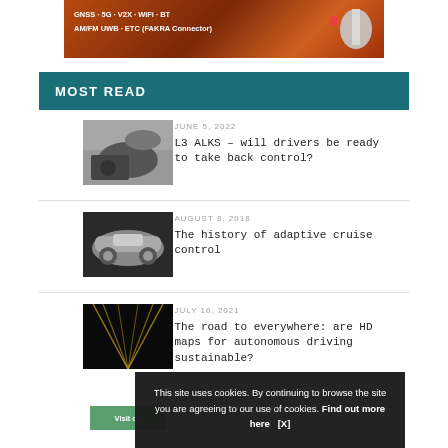[Figure (photo): Automotive connectivity banner advertisement: GNSS, 5G, V2X, WiFi, BT, AM/FM, UWB, ETC (FAKRA Connector) on dark orange/brown background with car antenna illustration]
MOST READ
[Figure (photo): Person sitting in car interior viewed from back seat]
JUNE 5, 2022
L3 ALKS – will drivers be ready to take back control?
[Figure (photo): Silver sedan car on dark background]
AUGUST 8, 2018
The history of adaptive cruise control
[Figure (photo): Night road with yellow lane markings converging to vanishing point]
JULY 16, 2021
The road to everywhere: are HD maps for autonomous driving sustainable?
This site uses cookies. By continuing to browse the site you are agreeing to our use of cookies. Find out more here   [X]